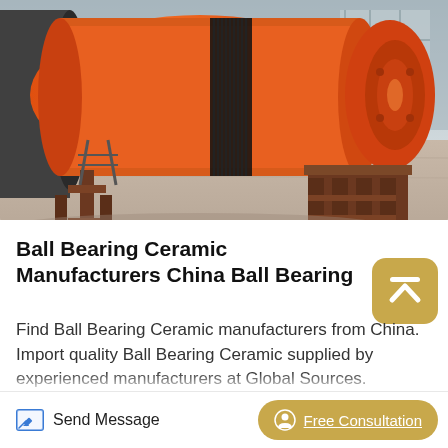[Figure (photo): Industrial orange ball mill / grinding machine on a factory floor, large cylindrical drum with gear ring, mounted on brown steel supports, grey concrete floor background]
Ball Bearing Ceramic Manufacturers China Ball Bearing
Find Ball Bearing Ceramic manufacturers from China. Import quality Ball Bearing Ceramic supplied by experienced manufacturers at Global Sources. Ceramic ball for ceramic ball mill, ceramic grinding balls. US$ 1000 - 2000 Ton (US) 1 Ton (US) (Min. Order) Lead Time 30 days Costa Rica
Send Message
Free Consultation